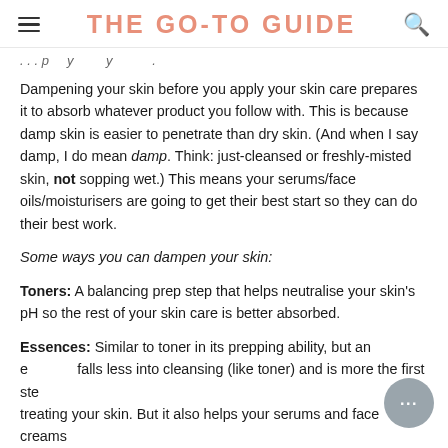THE GO-TO GUIDE
... p y y
Dampening your skin before you apply your skin care prepares it to absorb whatever product you follow with. This is because damp skin is easier to penetrate than dry skin. (And when I say damp, I do mean damp. Think: just-cleansed or freshly-misted skin, not sopping wet.) This means your serums/face oils/moisturisers are going to get their best start so they can do their best work.
Some ways you can dampen your skin:
Toners: A balancing prep step that helps neutralise your skin's pH so the rest of your skin care is better absorbed.
Essences: Similar to toner in its prepping ability, but an essence falls less into cleansing (like toner) and is more the first step of treating your skin. But it also helps your serums and face creams